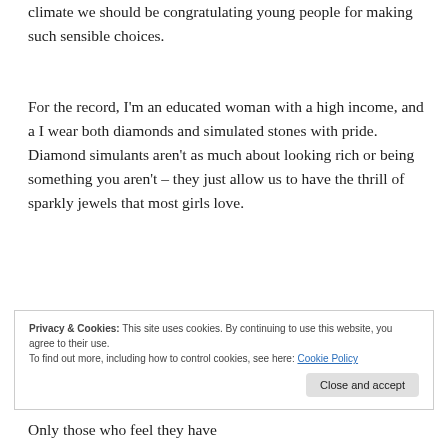climate we should be congratulating young people for making such sensible choices.
For the record, I'm an educated woman with a high income, and a I wear both diamonds and simulated stones with pride. Diamond simulants aren't as much about looking rich or being something you aren't – they just allow us to have the thrill of sparkly jewels that most girls love.
Privacy & Cookies: This site uses cookies. By continuing to use this website, you agree to their use.
To find out more, including how to control cookies, see here: Cookie Policy
Close and accept
Only those who feel they have